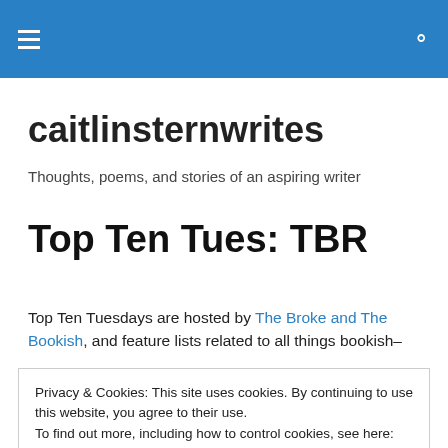Navigation bar with hamburger menu and search icon
caitlinsternwrites
Thoughts, poems, and stories of an aspiring writer
Top Ten Tues: TBR
Top Ten Tuesdays are hosted by The Broke and The Bookish, and feature lists related to all things bookish–
Privacy & Cookies: This site uses cookies. By continuing to use this website, you agree to their use.
To find out more, including how to control cookies, see here: Cookie Policy
[Close and accept]
bloggers who participate.